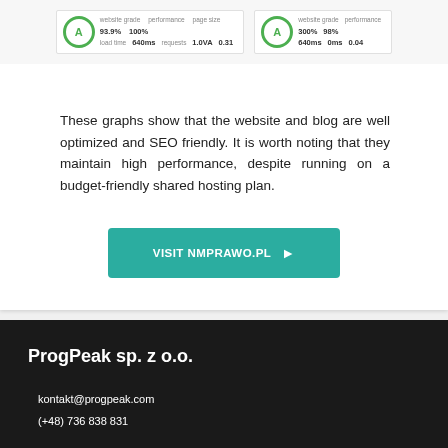[Figure (screenshot): Two website performance/SEO grade screenshots showing grade A with metrics like 93.9%, 100%, 640ms, 1.0VA, 0.31 and 300%, 98%, 640ms, 0ms, 0.04]
These graphs show that the website and blog are well optimized and SEO friendly. It is worth noting that they maintain high performance, despite running on a budget-friendly shared hosting plan.
VISIT NMPRAWO.PL ▶
ProgPeak sp. z o.o.
kontakt@progpeak.com
(+48) 736 838 831